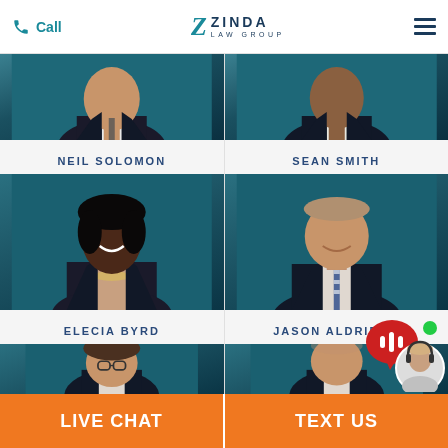Call | Zinda Law Group
[Figure (photo): Professional headshot of Neil Solomon, attorney, in dark suit with patterned tie, against teal background]
[Figure (photo): Professional headshot of Sean Smith, attorney, in dark suit with yellow tie, against teal background]
NEIL SOLOMON
SEAN SMITH
[Figure (photo): Professional headshot of Elecia Byrd, attorney, in dark blazer with statement necklace, smiling, against teal background]
[Figure (photo): Professional headshot of Jason Aldridge, attorney, in dark suit with striped tie, smiling, against teal background]
ELECIA BYRD
JASON ALDRIDGE
[Figure (photo): Partial headshot of male attorney with glasses, against teal background]
[Figure (photo): Partial headshot of male attorney, against teal background]
LIVE CHAT
TEXT US